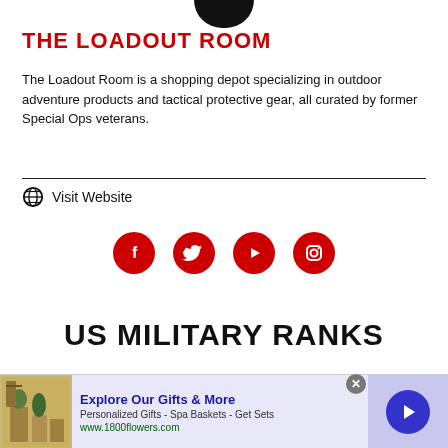THE LOADOUT ROOM
The Loadout Room is a shopping depot specializing in outdoor adventure products and tactical protective gear, all curated by former Special Ops veterans.
Visit Website
[Figure (infographic): Row of four red social media icons: Facebook, Twitter, YouTube, Instagram]
US MILITARY RANKS
[Figure (infographic): Advertisement: Explore Our Gifts & More - Personalized Gifts - Spa Baskets - Get Sets - www.1800flowers.com]